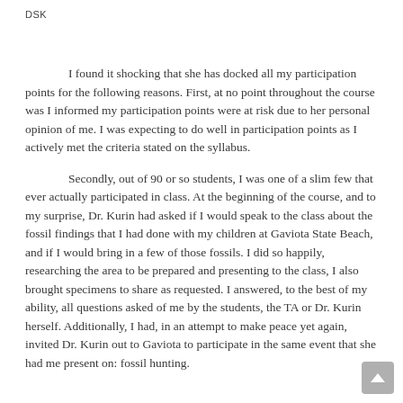DSK
I found it shocking that she has docked all my participation points for the following reasons. First, at no point throughout the course was I informed my participation points were at risk due to her personal opinion of me. I was expecting to do well in participation points as I actively met the criteria stated on the syllabus.
Secondly, out of 90 or so students, I was one of a slim few that ever actually participated in class. At the beginning of the course, and to my surprise, Dr. Kurin had asked if I would speak to the class about the fossil findings that I had done with my children at Gaviota State Beach, and if I would bring in a few of those fossils. I did so happily, researching the area to be prepared and presenting to the class, I also brought specimens to share as requested. I answered, to the best of my ability, all questions asked of me by the students, the TA or Dr. Kurin herself. Additionally, I had, in an attempt to make peace yet again, invited Dr. Kurin out to Gaviota to participate in the same event that she had me present on: fossil hunting.